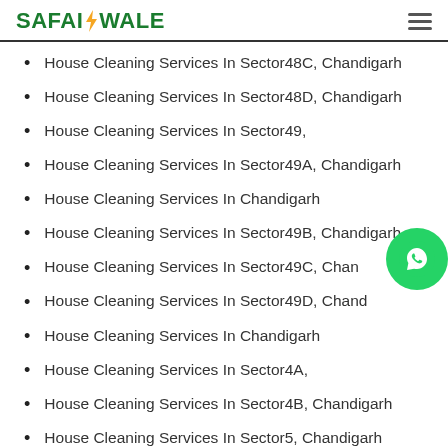SAFAIWALE
House Cleaning Services In Sector48C, Chandigarh
House Cleaning Services In Sector48D, Chandigarh
House Cleaning Services In Sector49,
House Cleaning Services In Sector49A, Chandigarh
House Cleaning Services In Chandigarh
House Cleaning Services In Sector49B, Chandigarh
House Cleaning Services In Sector49C, Chandigarh
House Cleaning Services In Sector49D, Chandigarh
House Cleaning Services In Chandigarh
House Cleaning Services In Sector4A,
House Cleaning Services In Sector4B, Chandigarh
House Cleaning Services In Sector5, Chandigarh
House Cleaning Services In Sector50, Chandigarh
House Cleaning Services In Sector51, Chandigarh
House Cleaning Services In Sector52, Chandigarh